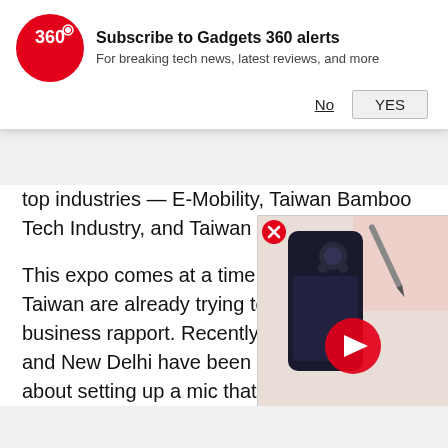[Figure (logo): Gadgets 360 red circle logo with '360' text]
Subscribe to Gadgets 360 alerts
For breaking tech news, latest reviews, and more
No   YES
top industries — E-Mobility, Taiwan Bamboo Tech Industry, and Taiwan Gold Card.
This expo comes at a time when India and Taiwan are already trying to establish a business rapport. Recently, officials in Taipei and New Delhi have been in conversation about setting up a mic that could produce semiconductors electric cars, along with plummeting components used in chip production year. India is assessing feasible sites that have enough
[Figure (screenshot): Video thumbnail showing a dark smartphone with play button overlay]